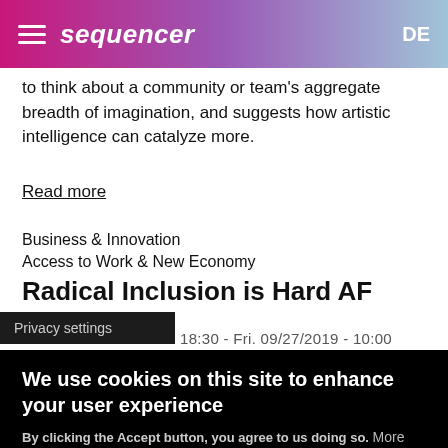sequencer  DE
to think about a community or team's aggregate breadth of imagination, and suggests how artistic intelligence can catalyze more.
Read more
Business & Innovation
Access to Work & New Economy
Radical Inclusion is Hard AF
B
18:30 - Fri. 09/27/2019 - 10:00
Privacy settings
We use cookies on this site to enhance your user experience
By clicking the Accept button, you agree to us doing so. More info
Accept
No, thanks